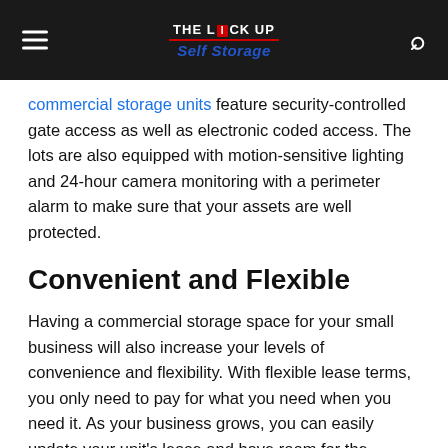THE LOCK UP Self Storage
commercial storage units feature security-controlled gate access as well as electronic coded access. The lots are also equipped with motion-sensitive lighting and 24-hour camera monitoring with a perimeter alarm to make sure that your assets are well protected.
Convenient and Flexible
Having a commercial storage space for your small business will also increase your levels of convenience and flexibility. With flexible lease terms, you only need to pay for what you need when you need it. As your business grows, you can easily update your unit's lease and have room for the growth that you're experiencing.
Industry-Specific Benefits